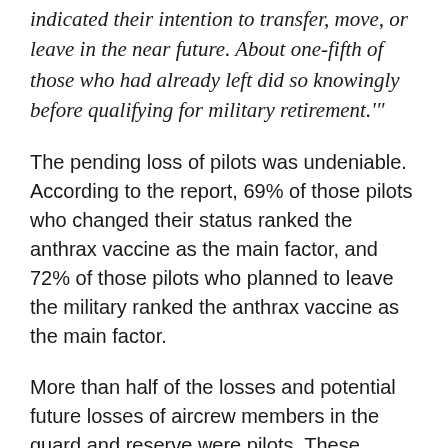indicated their intention to transfer, move, or leave in the near future. About one-fifth of those who had already left did so knowingly before qualifying for military retirement.'"
The pending loss of pilots was undeniable. According to the report, 69% of those pilots who changed their status ranked the anthrax vaccine as the main factor, and 72% of those pilots who planned to leave the military ranked the anthrax vaccine as the main factor.
More than half of the losses and potential future losses of aircrew members in the guard and reserve were pilots. These personnel losses included more experienced positions of flight evaluator